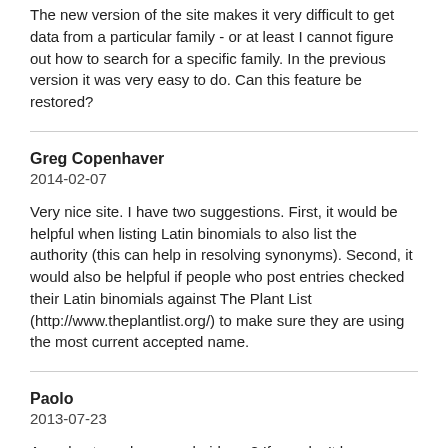The new version of the site makes it very difficult to get data from a particular family - or at least I cannot figure out how to search for a specific family. In the previous version it was very easy to do. Can this feature be restored?
Greg Copenhaver
2014-02-07
Very nice site. I have two suggestions. First, it would be helpful when listing Latin binomials to also list the authority (this can help in resolving synonyms). Second, it would also be helpful if people who post entries checked their Latin binomials against The Plant List (http://www.theplantlist.org/) to make sure they are using the most current accepted name.
Paolo
2013-07-23
Any plan to make an android app? If you don't have any plan I think I could make one simple app for you for free. Contact me if interested.